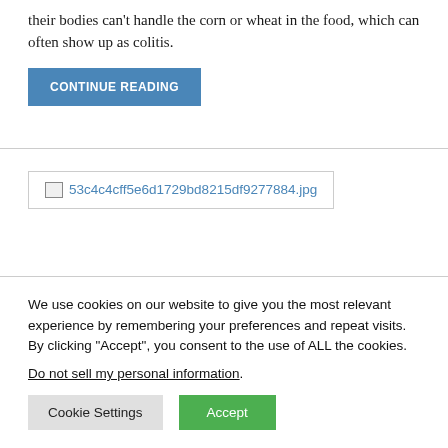their bodies can't handle the corn or wheat in the food, which can often show up as colitis.
CONTINUE READING
[Figure (other): Broken image link: 53c4c4cff5e6d1729bd8215df9277884.jpg]
We use cookies on our website to give you the most relevant experience by remembering your preferences and repeat visits. By clicking “Accept”, you consent to the use of ALL the cookies.
Do not sell my personal information.
Cookie Settings
Accept